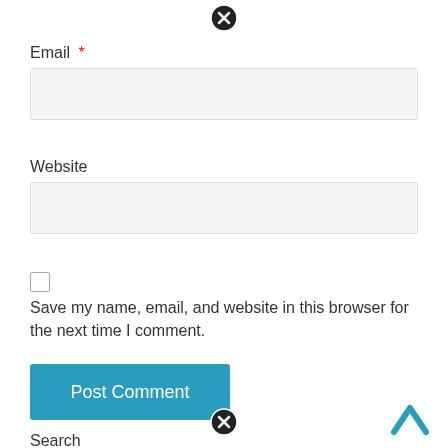[Figure (other): Black circle with white X close icon at top center]
Email *
[Figure (other): Email input text field (light gray background, rounded border)]
Website
[Figure (other): Website input text field (light gray background, rounded border)]
[Figure (other): Unchecked checkbox]
Save my name, email, and website in this browser for the next time I comment.
[Figure (other): Blue 'Post Comment' button]
[Figure (other): Black circle with white X close icon at bottom center]
[Figure (other): Cyan/blue upward chevron arrow at bottom right]
Search